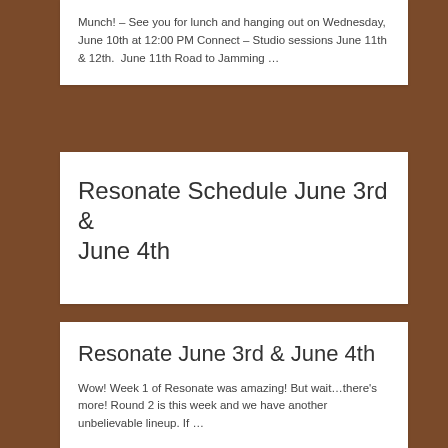Munch! – See you for lunch and hanging out on Wednesday, June 10th at 12:00 PM Connect – Studio sessions June 11th & 12th.  June 11th Road to Jamming …
Resonate Schedule June 3rd & June 4th
Resonate June 3rd & June 4th
Wow! Week 1 of Resonate was amazing! But wait…there's more! Round 2 is this week and we have another unbelievable lineup. If …